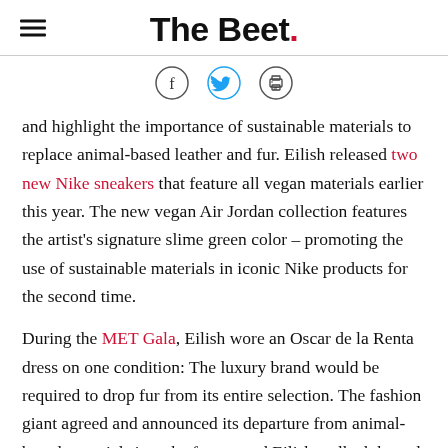The Beet.
[Figure (infographic): Social sharing icons: Facebook (f), Twitter (bird), and Print (printer) as circular outlined buttons]
and highlight the importance of sustainable materials to replace animal-based leather and fur. Eilish released two new Nike sneakers that feature all vegan materials earlier this year. The new vegan Air Jordan collection features the artist's signature slime green color – promoting the use of sustainable materials in iconic Nike products for the second time.
During the MET Gala, Eilish wore an Oscar de la Renta dress on one condition: The luxury brand would be required to drop fur from its entire selection. The fashion giant agreed and announced its departure from animal-based materials into the future, and Eilish walked the red carpet in the brand's